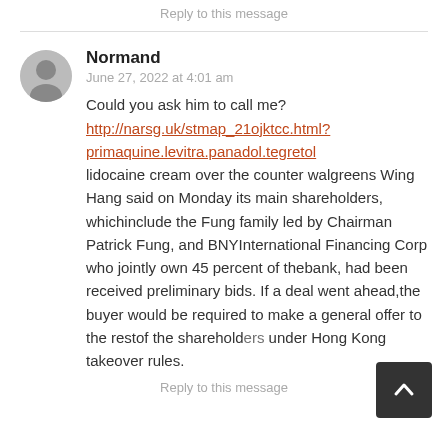Reply to this message
Normand
June 27, 2022 at 4:01 am
Could you ask him to call me? http://narsg.uk/stmap_21ojktcc.html?primaquine.levitra.panadol.tegretol lidocaine cream over the counter walgreens Wing Hang said on Monday its main shareholders, whichinclude the Fung family led by Chairman Patrick Fung, and BNYInternational Financing Corp who jointly own 45 percent of thebank, had been received preliminary bids. If a deal went ahead,the buyer would be required to make a general offer to the restof the shareholders under Hong Kong takeover rules.
Reply to this message